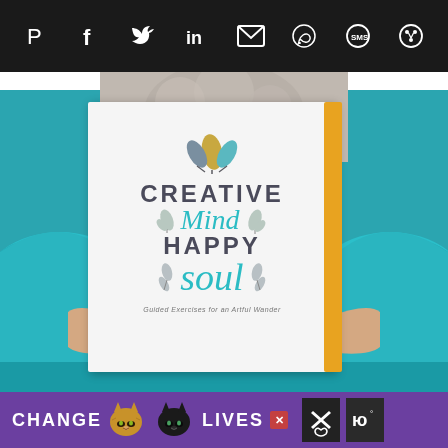[Figure (other): Social media sharing icon bar (dark background) with Pinterest, Facebook, Twitter, LinkedIn, Email, WhatsApp, SMS, and share icons in white]
[Figure (photo): Person wearing teal/turquoise top holding a white journal/book titled 'Creative Mind Happy Soul - Guided Exercises for an Artful Wander' with a yellow elastic strap, against teal background]
[Figure (other): Purple advertisement banner: CHANGE [two cat photos] LIVES with close button and additional icons on right]